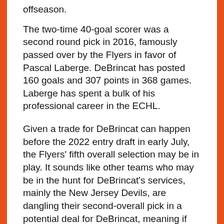offseason.
The two-time 40-goal scorer was a second round pick in 2016, famously passed over by the Flyers in favor of Pascal Laberge. DeBrincat has posted 160 goals and 307 points in 368 games. Laberge has spent a bulk of his professional career in the ECHL.
Given a trade for DeBrincat can happen before the 2022 entry draft in early July, the Flyers' fifth overall selection may be in play. It sounds like other teams who may be in the hunt for DeBrincat's services, mainly the New Jersey Devils, are dangling their second-overall pick in a potential deal for DeBrincat, meaning if the Flyers want to stand a real chance in acquiring the 2022 All-Star, the fifth overall may have to be the first stepping stone.
There's a good chance the Flyers would have to give up their first-round pick in the 2022 entry draft in